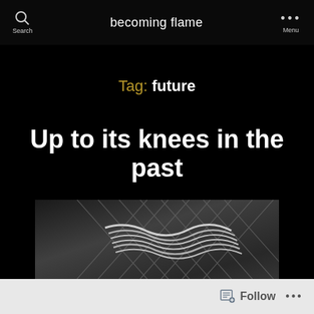becoming flame
Tag: future
Up to its knees in the past
June 14, 2020   No Comments
[Figure (photo): Black and white photo of chain-link fence with rope/twine woven through it]
Follow